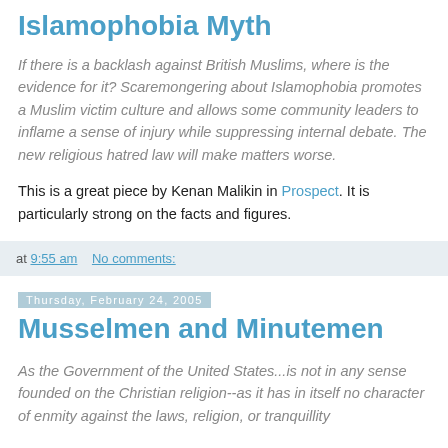Islamophobia Myth
If there is a backlash against British Muslims, where is the evidence for it? Scaremongering about Islamophobia promotes a Muslim victim culture and allows some community leaders to inflame a sense of injury while suppressing internal debate. The new religious hatred law will make matters worse.
This is a great piece by Kenan Malikin in Prospect. It is particularly strong on the facts and figures.
at 9:55 am   No comments:
Thursday, February 24, 2005
Musselmen and Minutemen
As the Government of the United States...is not in any sense founded on the Christian religion--as it has in itself no character of enmity against the laws, religion, or tranquillity